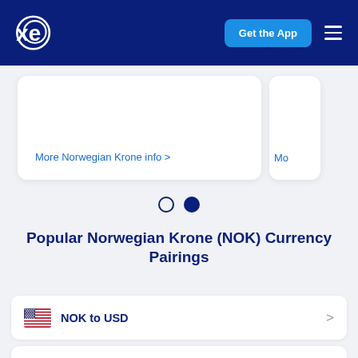xe — Get the App
More Norwegian Krone info >
[Figure (other): Carousel pagination dots: one empty circle and one filled circle]
Popular Norwegian Krone (NOK) Currency Pairings
NOK to USD
NOK to EUR